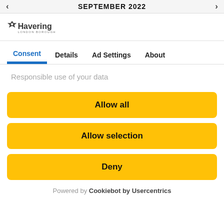< SEPTEMBER 2022 >
[Figure (logo): Havering London Borough logo]
Consent | Details | Ad Settings | About
Responsible use of your data
Allow all
Allow selection
Deny
Powered by Cookiebot by Usercentrics